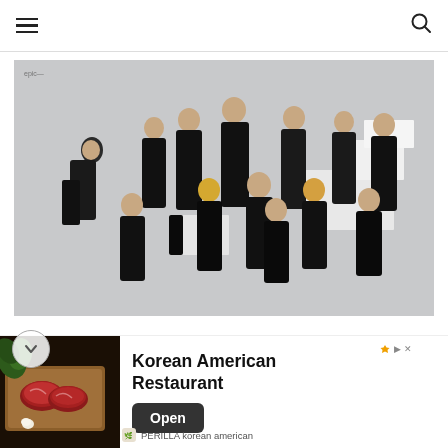Navigation bar with hamburger menu and search icon
[Figure (photo): Group photo of approximately 13 K-pop male artists dressed in black formal suits, posed on white geometric cube steps against a gray background]
[Figure (infographic): Advertisement banner for Korean American Restaurant - PERILLA korean american, with food image on left showing raw beef on wooden board with greens, title text 'Korean American Restaurant', and an 'Open' button]
PERILLA korean american